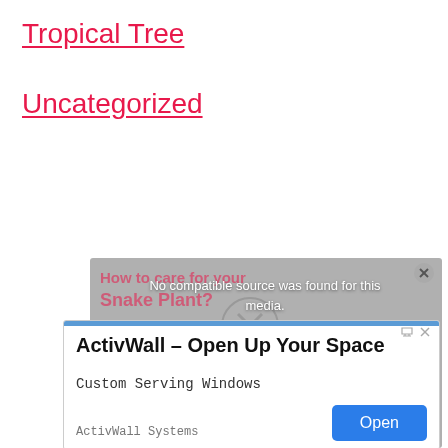Tropical Tree
Uncategorized
[Figure (screenshot): Video player showing 'No compatible source was found for this media.' message overlaid on a partially visible article about Snake Plant. Below it, an advertisement for ActivWall – Open Up Your Space with 'Custom Serving Windows' tagline, ActivWall Systems advertiser, and an 'Open' button.]